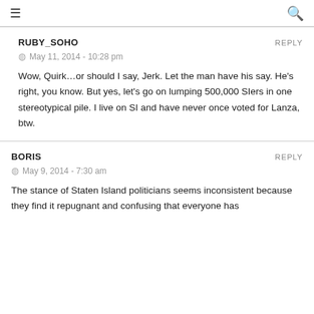☰  🔍
RUBY_SOHO
May 11, 2014 - 10:28 pm
Wow, Quirk…or should I say, Jerk. Let the man have his say. He's right, you know. But yes, let's go on lumping 500,000 SIers in one stereotypical pile. I live on SI and have never once voted for Lanza, btw.
BORIS
May 9, 2014 - 7:30 am
The stance of Staten Island politicians seems inconsistent because they find it repugnant and confusing that everyone has